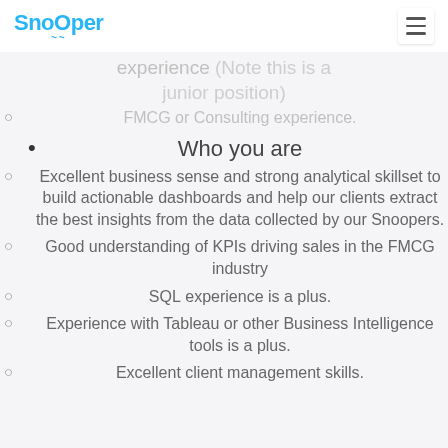Snooper
experience (Note this is a junior position)
FMCG or Consulting experience.
Who you are
Excellent business sense and strong analytical skillset to build actionable dashboards and help our clients extract the best insights from the data collected by our Snoopers.
Good understanding of KPIs driving sales in the FMCG industry
SQL experience is a plus.
Experience with Tableau or other Business Intelligence tools is a plus.
Excellent client management skills.